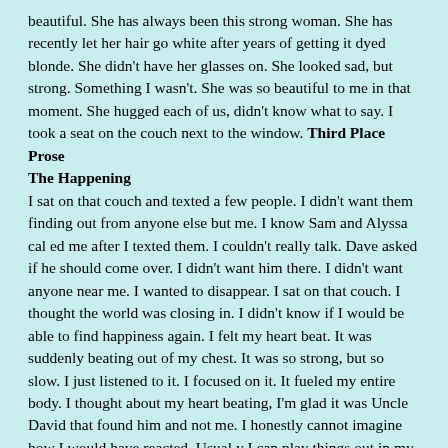beautiful. She has always been this strong woman. She has recently let her hair go white after years of getting it dyed blonde. She didn't have her glasses on. She looked sad, but strong. Something I wasn't. She was so beautiful to me in that moment. She hugged each of us, didn't know what to say. I took a seat on the couch next to the window. Third Place Prose
The Happening
I sat on that couch and texted a few people. I didn't want them finding out from anyone else but me. I know Sam and Alyssa cal ed me after I texted them. I couldn't really talk. Dave asked if he should come over. I didn't want him there. I didn't want anyone near me. I wanted to disappear. I sat on that couch. I thought the world was closing in. I didn't know if I would be able to find happiness again. I felt my heart beat. It was suddenly beating out of my chest. It was so strong, but so slow. I just listened to it. I focused on it. It fueled my entire body. I thought about my heart beating, I'm glad it was Uncle David that found him and not me. I honestly cannot imagine how I would have reacted. Usual y I can play things out in my head, but not this. That night the family ordered pizza. I thought of eating, then I thought I would puke if I tried. I wasn't hungry. I